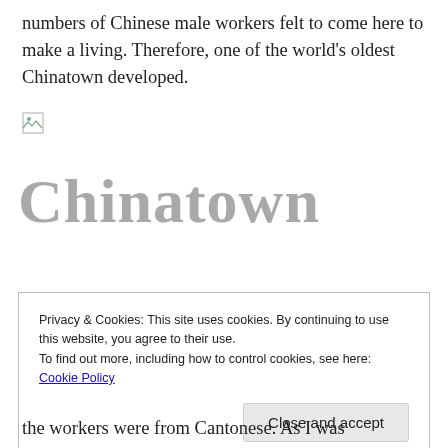numbers of Chinese male workers felt to come here to make a living. Therefore, one of the world's oldest Chinatown developed.
[Figure (photo): Broken/unloaded image placeholder icon]
Chinatown
Privacy & Cookies: This site uses cookies. By continuing to use this website, you agree to their use.
To find out more, including how to control cookies, see here: Cookie Policy
Close and accept
the workers were from Cantonese. As I was